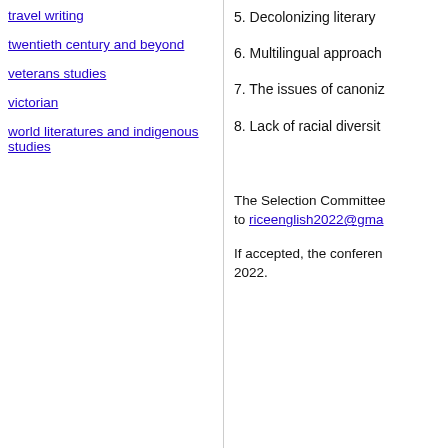travel writing
twentieth century and beyond
veterans studies
victorian
world literatures and indigenous studies
5. Decolonizing literary
6. Multilingual approach
7. The issues of canoniza
8. Lack of racial diversit
The Selection Committee to riceenglish2022@gma
If accepted, the conferen 2022.